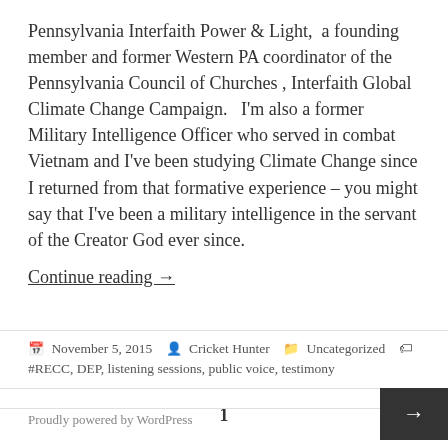Pennsylvania Interfaith Power & Light,  a founding member and former Western PA coordinator of the Pennsylvania Council of Churches , Interfaith Global Climate Change Campaign.   I'm also a former Military Intelligence Officer who served in combat  Vietnam and I've been studying Climate Change since I returned from that formative experience – you might say that I've been a military intelligence in the servant of the Creator God ever since.
Continue reading →
November 5, 2015   Cricket Hunter   Uncategorized   #RECC, DEP, listening sessions, public voice, testimony
1
Proudly powered by WordPress